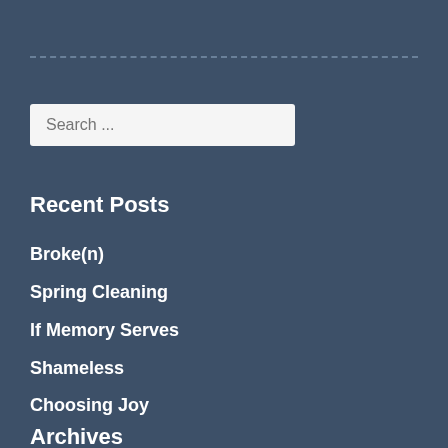Search ...
Recent Posts
Broke(n)
Spring Cleaning
If Memory Serves
Shameless
Choosing Joy
Archives